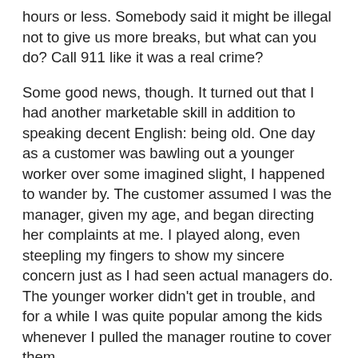hours or less. Somebody said it might be illegal not to give us more breaks, but what can you do? Call 911 like it was a real crime?
Some good news, though. It turned out that I had another marketable skill in addition to speaking decent English: being old. One day as a customer was bawling out a younger worker over some imagined slight, I happened to wander by. The customer assumed I was the manager, given my age, and began directing her complaints at me. I played along, even steepling my fingers to show my sincere concern just as I had seen actual managers do. The younger worker didn't get in trouble, and for a while I was quite popular among the kids whenever I pulled the manager routine to cover them.
Hours were our currency. You could trade them with other employees if they needed a day off to visit their kid's school. You could grab a few extra on holidays. If